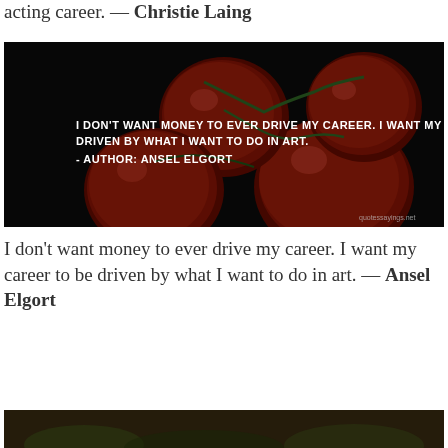acting career. — Christie Laing
[Figure (photo): Dark background image of red cherry tomatoes on a vine with white text overlay reading: I DON'T WANT MONEY TO EVER DRIVE MY CAREER. I WANT MY CAREER TO BE DRIVEN BY WHAT I WANT TO DO IN ART. - AUTHOR: ANSEL ELGORT. Small watermark reads quotessayings.net]
I don't want money to ever drive my career. I want my career to be driven by what I want to do in art. — Ansel Elgort
[Figure (photo): Partial image visible at bottom of page, dark tones]